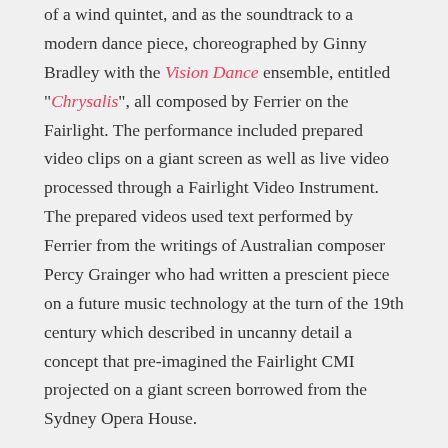of a wind quintet, and as the soundtrack to a modern dance piece, choreographed by Ginny Bradley with the Vision Dance ensemble, entitled "Chrysalis", all composed by Ferrier on the Fairlight. The performance included prepared video clips on a giant screen as well as live video processed through a Fairlight Video Instrument. The prepared videos used text performed by Ferrier from the writings of Australian composer Percy Grainger who had written a prescient piece on a future music technology at the turn of the 19th century which described in uncanny detail a concept that pre-imagined the Fairlight CMI projected on a giant screen borrowed from the Sydney Opera House.
Barry Ferrier has recently been recognised for his pioneering work as an electronic music composer by inclusion of one of his compositions in an exhibition mounted as a celebration of the birth of the Fairlight Computer Music Instrument at the National Film and Sound Archive in Canberra on Sept 2nd